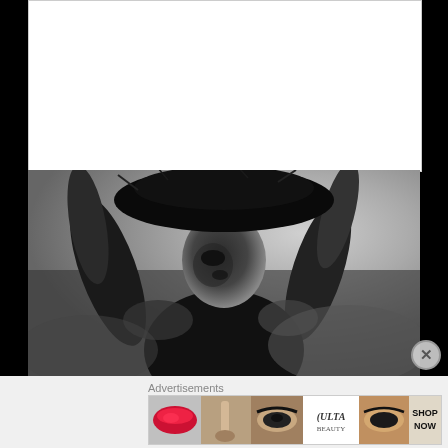[Figure (photo): Black and white photograph of a person carrying a large load on their head, arms raised, looking upward, dramatic contrast lighting]
A Film Arising from the Sea and the Sand: ‘Araya’ at Cinema
Advertisements
[Figure (photo): Ulta Beauty advertisement banner featuring close-up beauty shots of lips, makeup brush, eyes, Ulta logo, and SHOP NOW call to action]